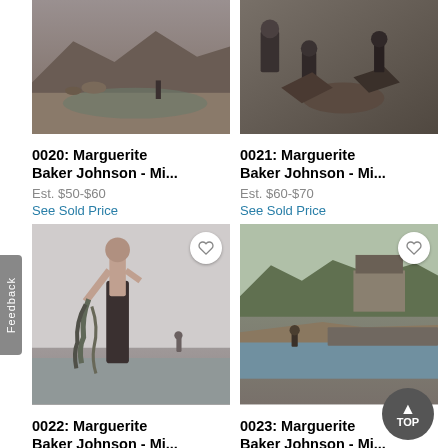[Figure (photo): Black and white historical photo showing an aerial/elevated view of a construction or mining scene with workers and machinery in a valley.]
0020: Marguerite Baker Johnson - Mi...
Est. $50-$60
See Sold Price
[Figure (photo): Black and white historical photo showing workers with tools and debris, possibly at a worksite or excavation.]
0021: Marguerite Baker Johnson - Mi...
Est. $60-$70
See Sold Price
[Figure (photo): Black and white photo of a shirtless man standing on a beach or shore, holding what appears to be seaweed or plants.]
0022: Marguerite Baker Johnson - Mi...
[Figure (photo): Sepia-toned historical photo showing a riverside or lakeside scene with a structure and people in the background.]
0023: Marguerite Baker Johnson - Mi...